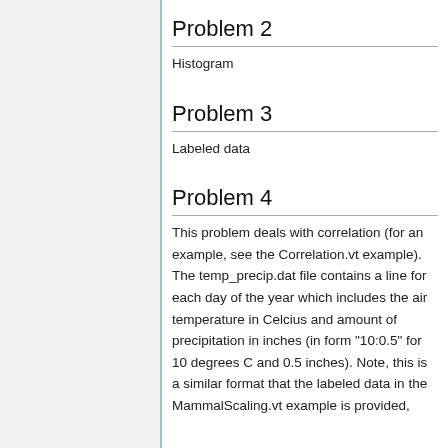Problem 2
Histogram
Problem 3
Labeled data
Problem 4
This problem deals with correlation (for an example, see the Correlation.vt example). The temp_precip.dat file contains a line for each day of the year which includes the air temperature in Celcius and amount of precipitation in inches (in form "10:0.5" for 10 degrees C and 0.5 inches). Note, this is a similar format that the labeled data in the MammalScaling.vt example is provided,